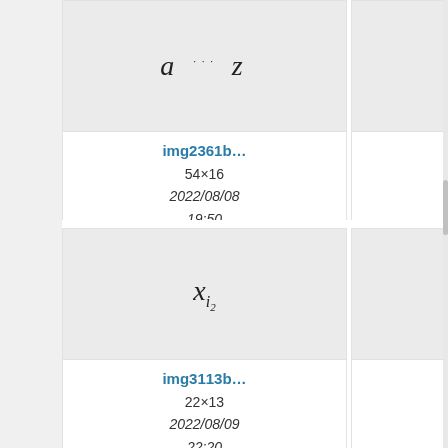[Figure (screenshot): File browser grid showing math formula image thumbnails with metadata. Row 1: img2361b (54x16, 2022/08/08 19:50, 3 KB) showing 'a...z' formula; img2456d (593x85, 2022/08/09 07:00, 4 KB) showing a document thumbnail; partial third card. Row 2: img3113b (22x13, 2022/08/09 22:20, 2.9 KB) showing 'x_{i_2}' formula; img3224b (56x17, 2022/08/10 18:12, 3 KB) showing 'lim sup'; partial third card. Row 3 (partial): cards showing sqrt(x)+sqrt(X)+sqrt(x) and Fraktur R.]